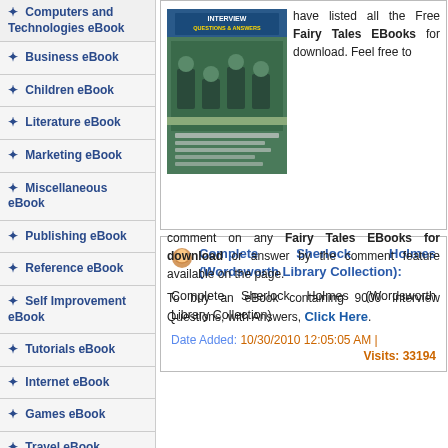Computers and Technologies eBook
Business eBook
Children eBook
Literature eBook
Marketing eBook
Miscellaneous eBook
Publishing eBook
Reference eBook
Self Improvement eBook
Tutorials eBook
Internet eBook
Games eBook
Travel eBook
Health eBook
Cooking eBook
Science & Technology
[Figure (photo): Book cover: Interview Questions & Answers]
have listed all the Free Fairy Tales EBooks for download. Feel free to comment on any Fairy Tales EBooks for download or answer by the comment feature available on the page. To buy an eBook containing 9000 Interview Questions, with Answers, Click Here.
Complete Sherlock Holmes (Wordsworth Library Collection): Complete Sherlock Holmes (Wordsworth Library Collection)
Date Added: 10/30/2010 12:05:05 AM | Visits: 33194